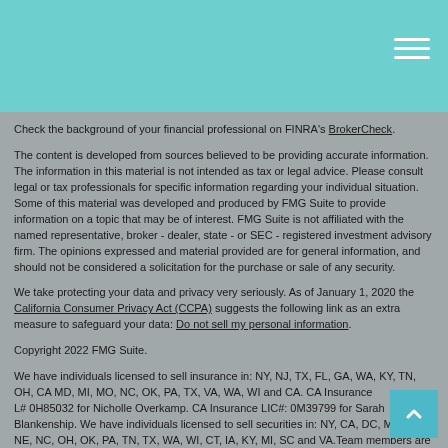Check the background of your financial professional on FINRA's BrokerCheck.
The content is developed from sources believed to be providing accurate information. The information in this material is not intended as tax or legal advice. Please consult legal or tax professionals for specific information regarding your individual situation. Some of this material was developed and produced by FMG Suite to provide information on a topic that may be of interest. FMG Suite is not affiliated with the named representative, broker - dealer, state - or SEC - registered investment advisory firm. The opinions expressed and material provided are for general information, and should not be considered a solicitation for the purchase or sale of any security.
We take protecting your data and privacy very seriously. As of January 1, 2020 the California Consumer Privacy Act (CCPA) suggests the following link as an extra measure to safeguard your data: Do not sell my personal information.
Copyright 2022 FMG Suite.
We have individuals licensed to sell insurance in: NY, NJ, TX, FL, GA, WA, KY, TN, OH, CA MD, MI, MO, NC, OK, PA, TX, VA, WA, WI and CA. CA Insurance L# 0H85032 for Nicholle Overkamp. CA Insurance LIC#: 0M39799 for Sarah Blankenship. We have individuals licensed to sell securities in: NY, CA, DC, MN, MO, NE, NC, OH, OK, PA, TN, TX, WA, WI, CT, IA, KY, MI, SC and VA. Team members are registered representatives of and offer securities and investment